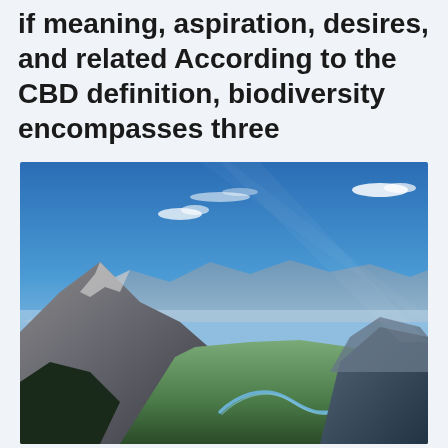if meaning, aspiration, desires, and related According to the CBD definition, biodiversity encompasses three
[Figure (photo): Aerial landscape photograph showing a mountain range with a valley below, a river winding through the valley floor, evergreen forests, and a small town visible in the lower left. The sky is clear blue with a few wispy clouds. Likely the Canadian Rockies, possibly Banff area.]